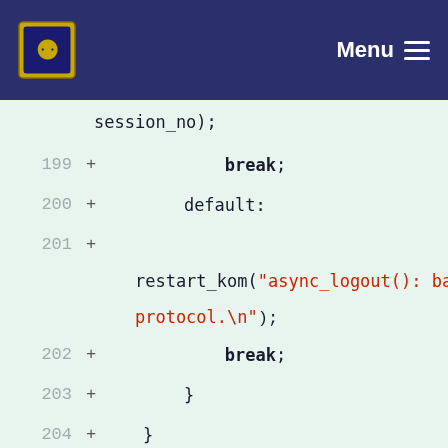Menu
[Figure (screenshot): Code diff viewer showing lines 199-212 of source code with added lines (marked with +) on a light green background. Lines include break statements, default case, restart_kom call with string argument, closing braces, void keyword, async_new_name function declaration with parameters Conf_no conf_no, const String old_name, const String new_name.]